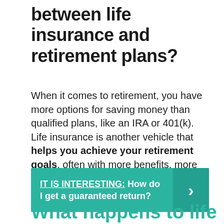between life insurance and retirement plans?
When it comes to retirement, you have more options for saving money than qualified plans, like an IRA or 401(k). Life insurance is another vehicle that helps you achieve your retirement goals, often with more benefits, more security, and more liquidity than a 401(k). ... It provides true financial security and abundance.
IT IS INTERESTING:  How do I get a guaranteed return?
What happens to life